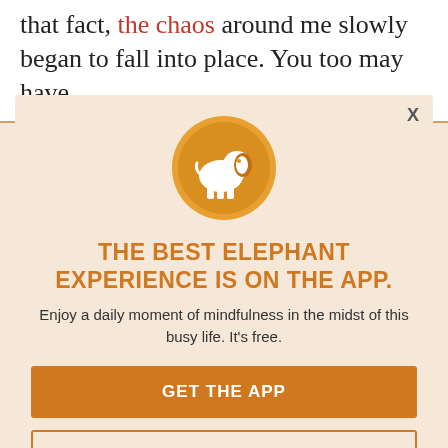that fact, the chaos around me slowly began to fall into place. You too may have
[Figure (illustration): Modal popup overlay with elephant app logo (white elephant on orange circle), heading, subtext, and two buttons on a warm beige background with faded article text behind]
THE BEST ELEPHANT EXPERIENCE IS ON THE APP.
Enjoy a daily moment of mindfulness in the midst of this busy life. It's free.
GET THE APP
OPEN IN APP